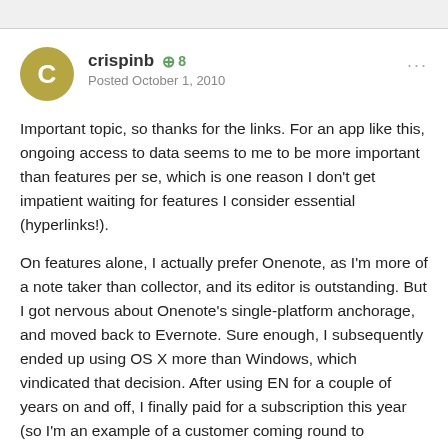[Figure (other): User avatar circle with letter C in gold/olive color]
crispinb  +8  Posted October 1, 2010
Important topic, so thanks for the links. For an app like this, ongoing access to data seems to me to be more important than features per se, which is one reason I don't get impatient waiting for features I consider essential (hyperlinks!).
On features alone, I actually prefer Onenote, as I'm more of a note taker than collector, and its editor is outstanding. But I got nervous about Onenote's single-platform anchorage, and moved back to Evernote. Sure enough, I subsequently ended up using OS X more than Windows, which vindicated that decision. After using EN for a couple of years on and off, I finally paid for a subscription this year (so I'm an example of a customer coming round to willingness to pay as a consequence of finding EN useful over a period of time). I would not have stuck with EN if not for 3 considerations: an exit strategy (full HTML export), multi platform support, and reason to believe that the company is likely to be around for the long haul.